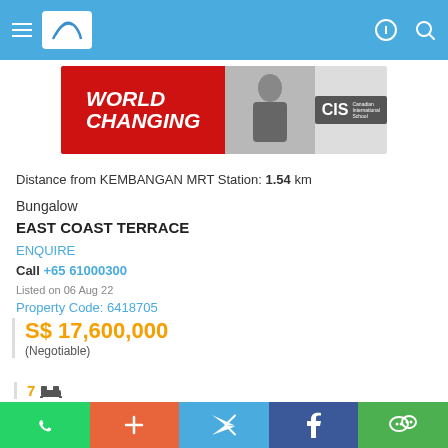Navigation bar with logo and icons
[Figure (photo): Canadian International School advertisement banner with WORLD CHANGING text and CIS logo]
Distance from KEMBANGAN MRT Station: 1.54 km
Bungalow
EAST COAST TERRACE
ENQUIRE
Call +65 61000300
Listed on 06 Aug 22
Property Code: 6418705
S$ 17,600,000
(Negotiable)
7 [bed icon]
Shortlist  Call
WhatsApp + Twitter Facebook WeChat social share bar